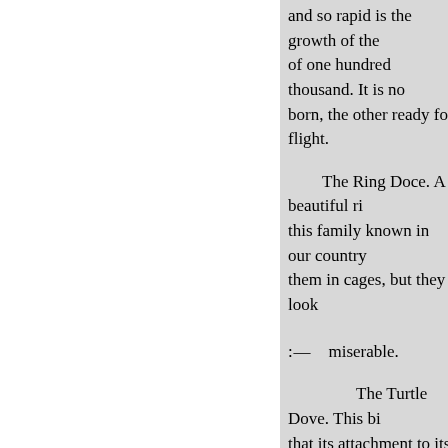and so rapid is the growth of the of one hundred thousand. It is no born, the other ready for flight.
The Ring Doce. A beautiful ri this family known in our country them in cages, but they look
:—    miserable.
The Turtle Dove. This bi that its attachment to its mate is s You remember how sweetly Cow
"When lightnings flash amo Or kites are hovering near
And know no other fear.
""Tis then I feel myself a wife
And press thy wedded side Resolved an union formed f